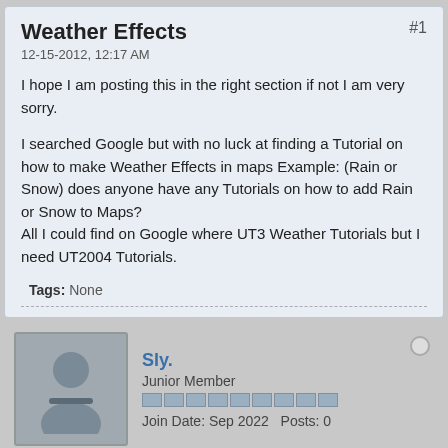Weather Effects #1
12-15-2012, 12:17 AM
I hope I am posting this in the right section if not I am very sorry.
I searched Google but with no luck at finding a Tutorial on how to make Weather Effects in maps Example: (Rain or Snow) does anyone have any Tutorials on how to add Rain or Snow to Maps? All I could find on Google where UT3 Weather Tutorials but I need UT2004 Tutorials.
Tags: None
Sly. Junior Member Join Date: Sep 2022 Posts: 0
12-15-2012, 04:35 AM #2
Welcome aboard and don't worry, this is the right section.
I posted an answer to your question at Old Unreal, if you have further